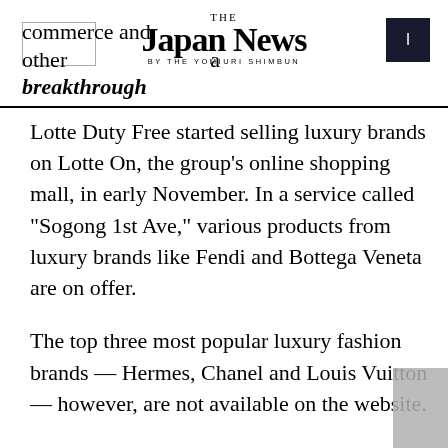commerce and other THE JAPAN NEWS BY THE YOMIURI SHIMBUN a breakthrough
Lotte Duty Free started selling luxury brands on Lotte On, the group’s online shopping mall, in early November. In a service called “Sogong 1st Ave,” various products from luxury brands like Fendi and Bottega Veneta are on offer.
The top three most popular luxury fashion brands — Hermes, Chanel and Louis Vuitton — however, are not available on the website.
Hyundai Department Store Duty Free joined hands with convenience store chain CU this year to appeal to a younger demographic interested in luxury